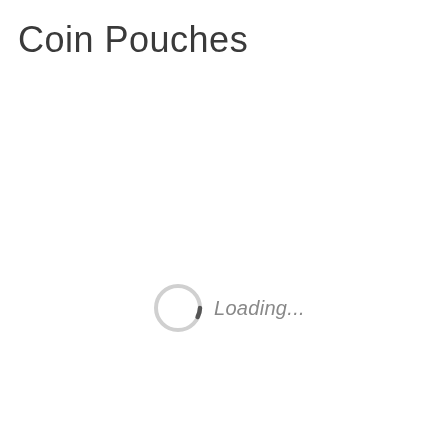Coin Pouches
[Figure (other): A circular loading spinner (light gray ring with a small dark segment at the right side) with italic text 'Loading...' to its right]